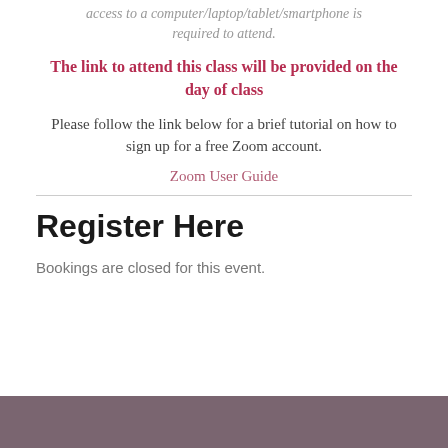access to a computer/laptop/tablet/smartphone is required to attend.
The link to attend this class will be provided on the day of class
Please follow the link below for a brief tutorial on how to sign up for a free Zoom account.
Zoom User Guide
Register Here
Bookings are closed for this event.